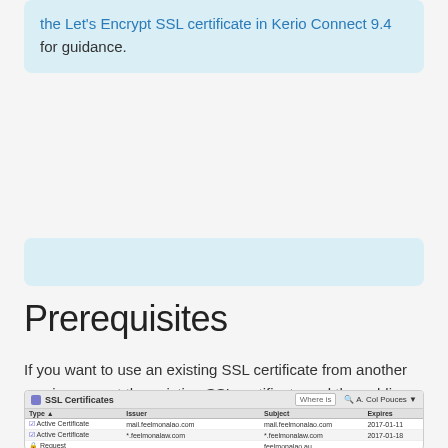the Let's Encrypt SSL certificate in Kerio Connect 9.4 for guidance.
Prerequisites
If you want to use an existing SSL certificate from another service, export the existing SSL certificate and the public key in the PEM format and import them to Kerio Connect.
[Figure (screenshot): Screenshot of SSL Certificates panel in Kerio Connect showing a table with columns Type, Issuer, Subject, Expires. Rows include Active Certificate entries for mail.feelmonalao.com and *.feelmonalaw.com, a Request for feelmonalao.au, and a Default Certificate from DigiCert High Assurance Ca-3.]